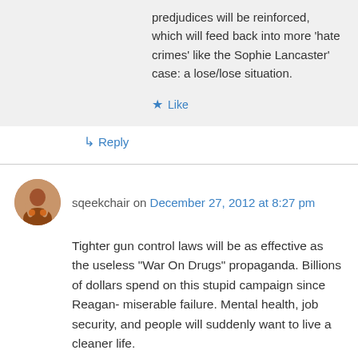predjudices will be reinforced, which will feed back into more 'hate crimes' like the Sophie Lancaster' case: a lose/lose situation.
★ Like
↳ Reply
sqeekchair on December 27, 2012 at 8:27 pm
Tighter gun control laws will be as effective as the useless "War On Drugs" propaganda. Billions of dollars spend on this stupid campaign since Reagan- miserable failure. Mental health, job security, and people will suddenly want to live a cleaner life.